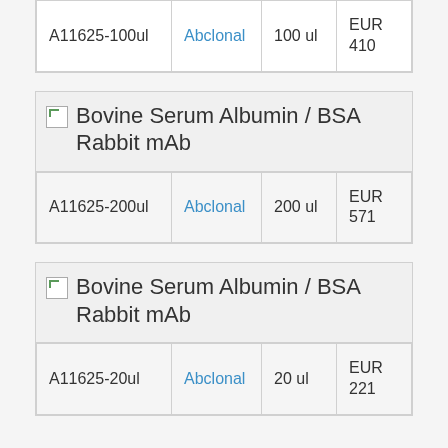| Catalog | Supplier | Size | Price |
| --- | --- | --- | --- |
| A11625-100ul | Abclonal | 100 ul | EUR 410 |
Bovine Serum Albumin / BSA Rabbit mAb
| Catalog | Supplier | Size | Price |
| --- | --- | --- | --- |
| A11625-200ul | Abclonal | 200 ul | EUR 571 |
Bovine Serum Albumin / BSA Rabbit mAb
| Catalog | Supplier | Size | Price |
| --- | --- | --- | --- |
| A11625-20ul | Abclonal | 20 ul | EUR 221 |